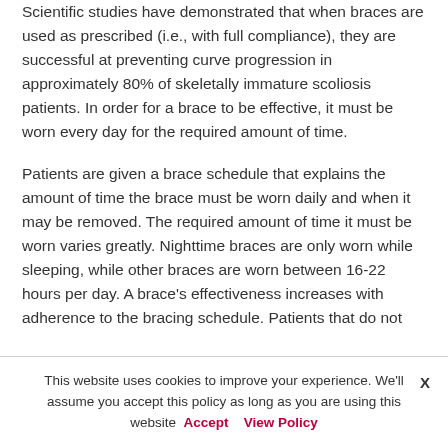Scientific studies have demonstrated that when braces are used as prescribed (i.e., with full compliance), they are successful at preventing curve progression in approximately 80% of skeletally immature scoliosis patients. In order for a brace to be effective, it must be worn every day for the required amount of time.
Patients are given a brace schedule that explains the amount of time the brace must be worn daily and when it may be removed. The required amount of time it must be worn varies greatly. Nighttime braces are only worn while sleeping, while other braces are worn between 16-22 hours per day. A brace's effectiveness increases with adherence to the bracing schedule. Patients that do not follow their bracing schedule are more likely to have their curve
This website uses cookies to improve your experience. We'll assume you accept this policy as long as you are using this website  Accept  View Policy